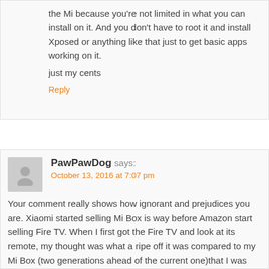the Mi because you're not limited in what you can install on it. And you don't have to root it and install Xposed or anything like that just to get basic apps working on it.
just my cents
Reply
PawPawDog says:
October 13, 2016 at 7:07 pm
Your comment really shows how ignorant and prejudices you are. Xiaomi started selling Mi Box is way before Amazon start selling Fire TV. When I first got the Fire TV and look at its remote, my thought was what a ripe off it was compared to my Mi Box (two generations ahead of the current one)that I was using for some time. And the orange color? It was Xiaomi's logo color from day one!
Reply